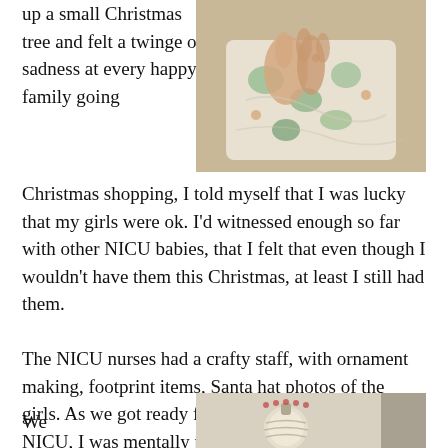up a small Christmas tree and felt a twinge of sadness at every happy family going Christmas shopping, I told myself that I was lucky that my girls were ok. I'd witnessed enough so far with other NICU babies, that I felt that even though I wouldn't have them this Christmas, at least I still had them.
[Figure (photo): Close-up photo of a baby's hands wrapped in a patterned fabric/blanket with green and colorful print.]
The NICU nurses had a crafty staff, with ornament making, footprint items, Santa hat photos of the girls. As we got ready for the long day we'd be at the NICU, I was mentally preparing myself not to make this a somber moment, next year, I told myself, would be different.
We
[Figure (photo): Partial photo at bottom right, appears to show a Christmas ornament or decorative item.]